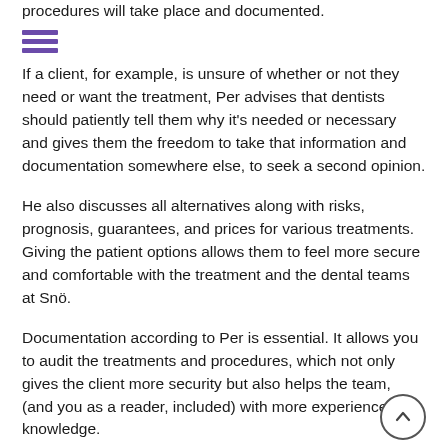procedures will take place and documented.
[Figure (other): Three horizontal purple lines (hamburger menu icon)]
If a client, for example, is unsure of whether or not they need or want the treatment, Per advises that dentists should patiently tell them why it's needed or necessary and gives them the freedom to take that information and documentation somewhere else, to seek a second opinion.
He also discusses all alternatives along with risks, prognosis, guarantees, and prices for various treatments. Giving the patient options allows them to feel more secure and comfortable with the treatment and the dental teams at Snö.
Documentation according to Per is essential. It allows you to audit the treatments and procedures, which not only gives the client more security but also helps the team, (and you as a reader, included) with more experience and knowledge.
[Figure (other): Circular scroll-to-top button with upward chevron arrow]